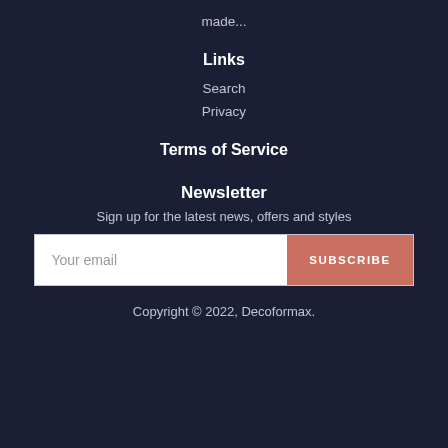made...
Links
Search
Privacy
Terms of Service
Newsletter
Sign up for the latest news, offers and styles
Your email | SUBSCRIBE
Copyright © 2022, Decoformax.